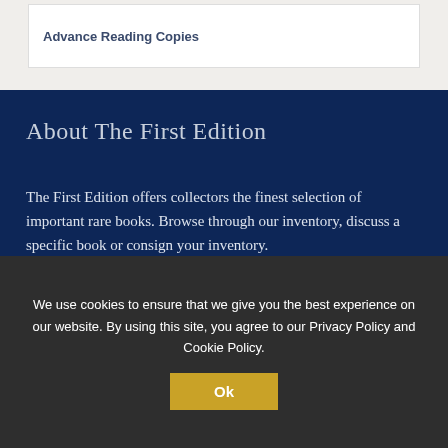Advance Reading Copies
About The First Edition
The First Edition offers collectors the finest selection of important rare books. Browse through our inventory, discuss a specific book or consign your inventory.
Read More ->
We use cookies to ensure that we give you the best experience on our website. By using this site, you agree to our Privacy Policy and Cookie Policy.
Ok